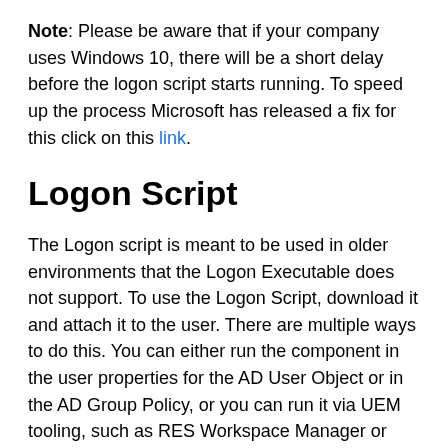Note: Please be aware that if your company uses Windows 10, there will be a short delay before the logon script starts running. To speed up the process Microsoft has released a fix for this click on this link.
Logon Script
The Logon script is meant to be used in older environments that the Logon Executable does not support. To use the Logon Script, download it and attach it to the user. There are multiple ways to do this. You can either run the component in the user properties for the AD User Object or in the AD Group Policy, or you can run it via UEM tooling, such as RES Workspace Manager or AppSense.
NOTE: The Logon Script uses Power-shell. Your test users must be allowed to run this in power-shell's full language mode. For more information about what is needed for the